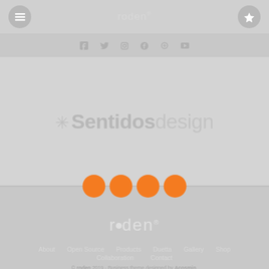roden®
[Figure (screenshot): Social media icons row: Facebook, Twitter, Instagram, Pinterest, Google+, and another icon]
[Figure (infographic): Hero area with asterisk icon and text 'Sentidos design' in large grey font]
[Figure (other): Four orange loading dots arranged horizontally]
[Figure (logo): roden® logo in white/light grey on grey background with circular dot in the 'o']
About   Open Source   Products   Duetta   Gallery   Shop   Collaboration   Contact
© roden 2019 · Business theme designed by Acosmin.